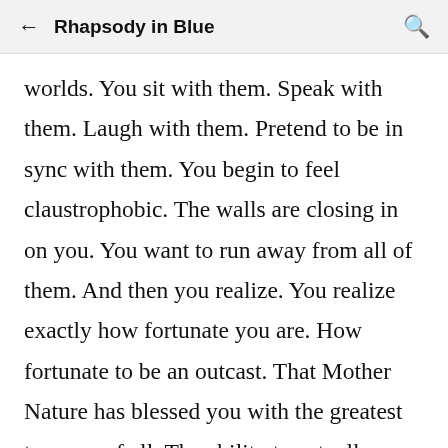← Rhapsody in Blue 🔍
worlds. You sit with them. Speak with them. Laugh with them. Pretend to be in sync with them. You begin to feel claustrophobic. The walls are closing in on you. You want to run away from all of them. And then you realize. You realize exactly how fortunate you are. How fortunate to be an outcast. That Mother Nature has blessed you with the greatest treasure of all. The ability to actually see things. The ability to feel. That you possess such a powerful mind that has turned every single limb in your body into a hypersensitive sensory organ. And when you walk